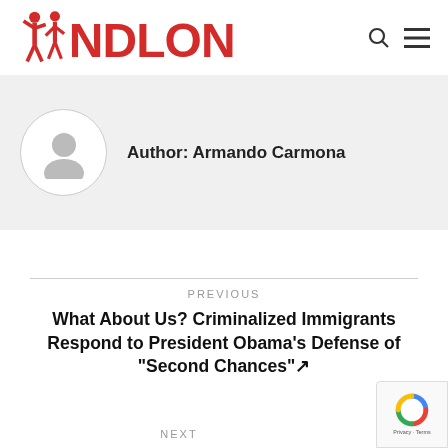NDLON
Author: Armando Carmona
PREVIOUS
What About Us? Criminalized Immigrants Respond to President Obama’s Defense of “Second Chances”↗
NEXT